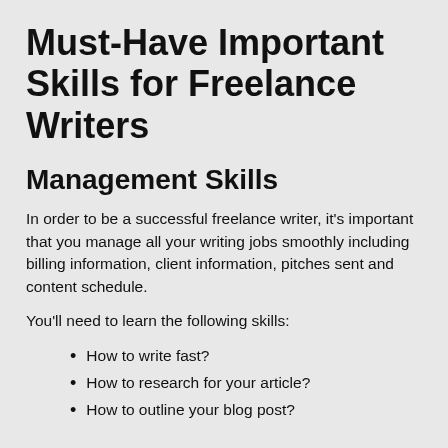Must-Have Important Skills for Freelance Writers
Management Skills
In order to be a successful freelance writer, it's important that you manage all your writing jobs smoothly including billing information, client information, pitches sent and content schedule.
You'll need to learn the following skills:
How to write fast?
How to research for your article?
How to outline your blog post?